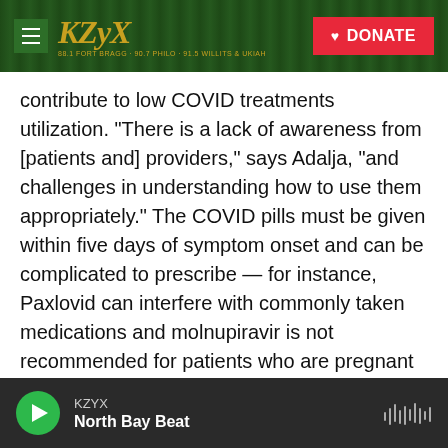[Figure (screenshot): KZYX radio station website header with logo and DONATE button on a forest background]
contribute to low COVID treatments utilization. "There is a lack of awareness from [patients and] providers," says Adalja, "and challenges in understanding how to use them appropriately." The COVID pills must be given within five days of symptom onset and can be complicated to prescribe — for instance, Paxlovid can interfere with commonly taken medications and molnupiravir is not recommended for patients who are pregnant or trying to conceive.
Then, it can be hard to know which pharmacies have the pills in stock or which infusion clinics have
KZYX
North Bay Beat